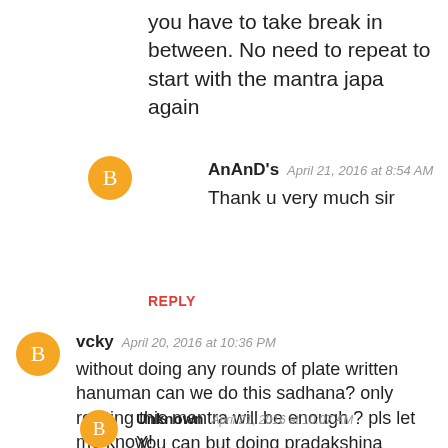you have to take break in between. No need to repeat to start with the mantra japa again
AnAnD's  April 21, 2016 at 8:54 AM
Thank u very much sir
REPLY
vcky  April 20, 2016 at 10:36 PM
without doing any rounds of plate written hanuman can we do this sadhana? only reciting this mantra will be enough ? pls let me know!
Unknown  April 21, 2016 at 10:07 AM
You can but doing pradakshina